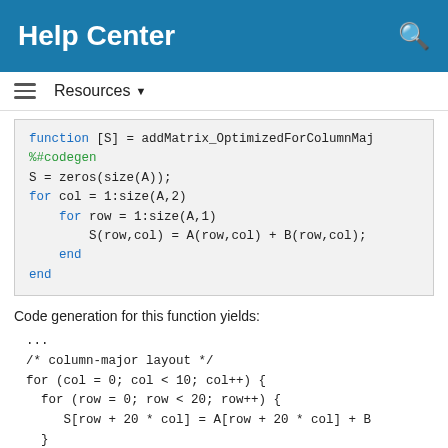Help Center
Resources ▼
[Figure (screenshot): Code block showing MATLAB function addMatrix_OptimizedForColumnMaj with %#codegen pragma, using nested for loops over col and row to compute S(row,col) = A(row,col) + B(row,col)]
Code generation for this function yields:
[Figure (screenshot): Generated C code showing column-major layout with nested for loops: for (col = 0; col < 10; col++) { for (row = 0; row < 20; row++) { S[row + 20 * col] = A[row + 20 * col] + B } } ...]